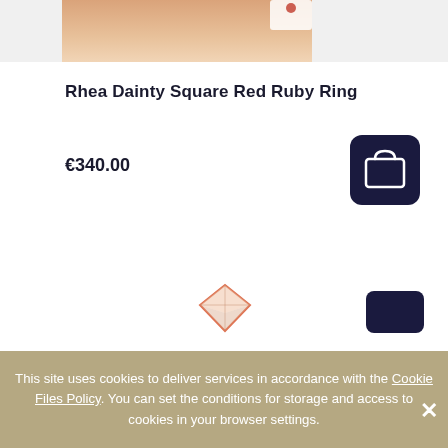[Figure (photo): Top portion of a product photo showing a ring on a finger, cropped at the bottom of frame]
Rhea Dainty Square Red Ruby Ring
€340.00
[Figure (illustration): Dark navy add-to-cart button icon with shopping bag symbol]
[Figure (photo): Bottom portion of a second product image showing a diamond-shaped ring, partially visible]
This site uses cookies to deliver services in accordance with the Cookie Files Policy. You can set the conditions for storage and access to cookies in your browser settings.